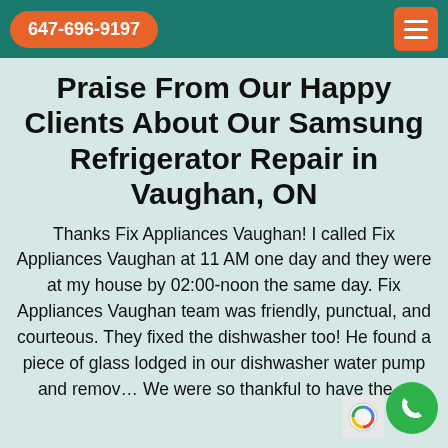647-696-9197
Praise From Our Happy Clients About Our Samsung Refrigerator Repair in Vaughan, ON
Thanks Fix Appliances Vaughan! I called Fix Appliances Vaughan at 11 AM one day and they were at my house by 02:00-noon the same day. Fix Appliances Vaughan team was friendly, punctual, and courteous. They fixed the dishwasher too! He found a piece of glass lodged in our dishwasher water pump and remov… We were so thankful to have the…